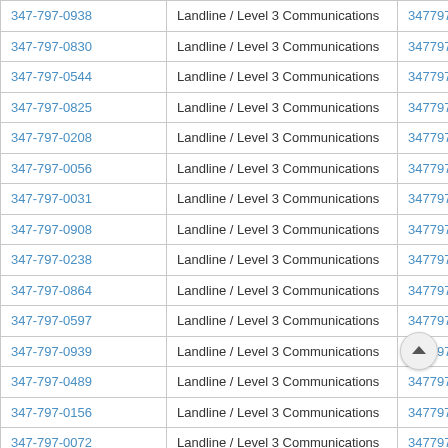| 347-797-0938 | Landline / Level 3 Communications | 3477970938 |
| 347-797-0830 | Landline / Level 3 Communications | 3477970830 |
| 347-797-0544 | Landline / Level 3 Communications | 3477970544 |
| 347-797-0825 | Landline / Level 3 Communications | 3477970825 |
| 347-797-0208 | Landline / Level 3 Communications | 3477970208 |
| 347-797-0056 | Landline / Level 3 Communications | 3477970056 |
| 347-797-0031 | Landline / Level 3 Communications | 3477970031 |
| 347-797-0908 | Landline / Level 3 Communications | 3477970908 |
| 347-797-0238 | Landline / Level 3 Communications | 3477970238 |
| 347-797-0864 | Landline / Level 3 Communications | 3477970864 |
| 347-797-0597 | Landline / Level 3 Communications | 3477970597 |
| 347-797-0939 | Landline / Level 3 Communications | 3477970939 |
| 347-797-0489 | Landline / Level 3 Communications | 3477970489 |
| 347-797-0156 | Landline / Level 3 Communications | 3477970156 |
| 347-797-0072 | Landline / Level 3 Communications | 3477970... |
| 347-797-0987 | Landline / Level 3 Communications | 3477970... |
| 347-797-0488 | Landline / Level 3 Communications | 3477970488 |
| 347-797-0937 | Landline / Level 3 Communications | 3477970937 |